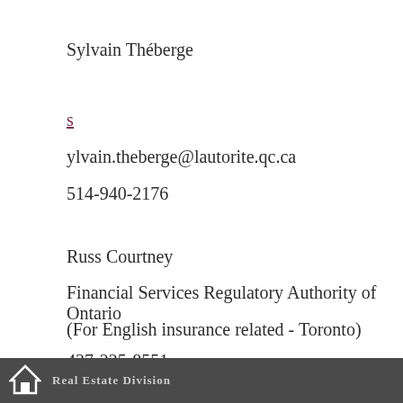Sylvain Théberge
s
ylvain.theberge@lautorite.qc.ca
514-940-2176
Russ Courtney
Financial Services Regulatory Authority of Ontario
(For English insurance related - Toronto)
437-225-8551